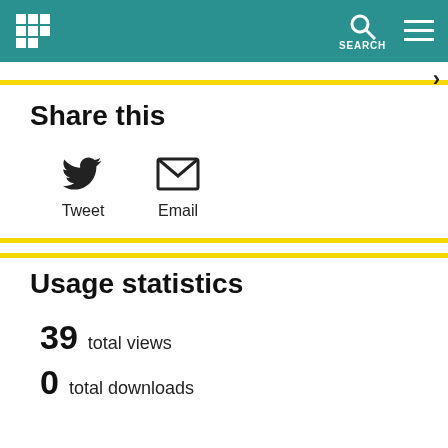SEARCH
Share this
[Figure (infographic): Twitter bird icon with label Tweet, and Email envelope icon with label Email]
Usage statistics
39 total views
0 total downloads